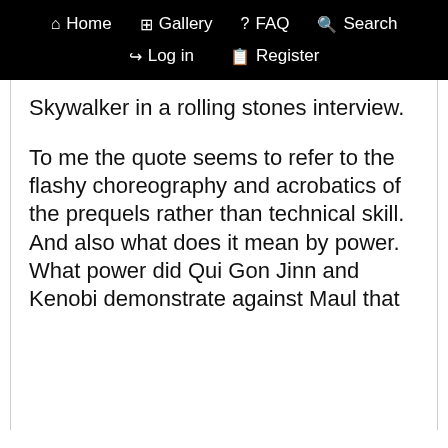Home  Gallery  FAQ  Search  Log in  Register
Skywalker in a rolling stones interview.
To me the quote seems to refer to the flashy choreography and acrobatics of the prequels rather than technical skill. And also what does it mean by power. What power did Qui Gon Jinn and Kenobi demonstrate against Maul that